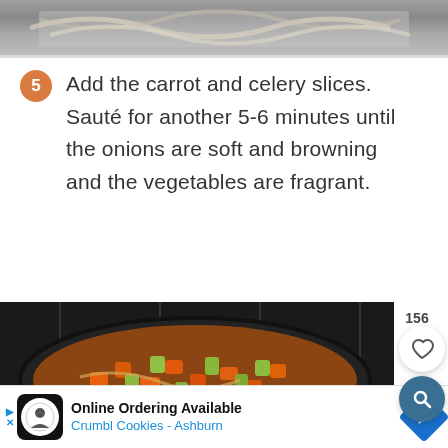[Figure (photo): Photo of noodles being cooked in a pan, partial view showing top of the page]
5 Add the carrot and celery slices. Sauté for another 5-6 minutes until the onions are soft and browning and the vegetables are fragrant.
[Figure (photo): Photo of a pan with sautéed carrots, celery, and onions on a stovetop. Sidebar shows 156 likes and heart/search buttons.]
156
Online Ordering Available
Crumbl Cookies - Ashburn